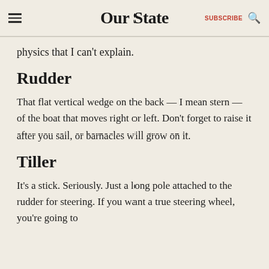Our State  SUBSCRIBE
physics that I can't explain.
Rudder
That flat vertical wedge on the back — I mean stern — of the boat that moves right or left. Don't forget to raise it after you sail, or barnacles will grow on it.
Tiller
It's a stick. Seriously. Just a long pole attached to the rudder for steering. If you want a true steering wheel, you're going to